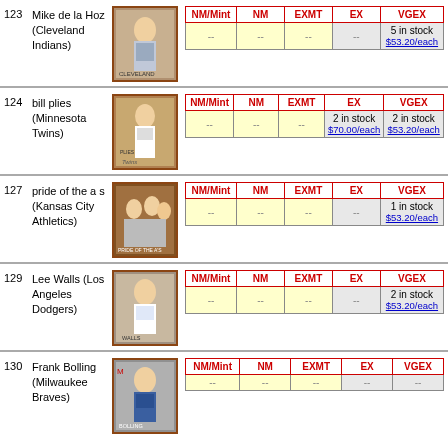| # | Name | Image | NM/Mint | NM | EXMT | EX | VGEX |
| --- | --- | --- | --- | --- | --- | --- | --- |
| 123 | Mike de la Hoz (Cleveland Indians) | [img] | -- | -- | -- | -- | 5 in stock $53.20/each |
| 124 | bill plies (Minnesota Twins) | [img] | -- | -- | -- | 2 in stock $70.00/each | 2 in stock $53.20/each |
| 127 | pride of the as (Kansas City Athletics) | [img] | -- | -- | -- | -- | 1 in stock $53.20/each |
| 129 | Lee Walls (Los Angeles Dodgers) | [img] | -- | -- | -- | -- | 2 in stock $53.20/each |
| 130 | Frank Bolling (Milwaukee Braves) | [img] | -- | -- | -- | -- | -- |